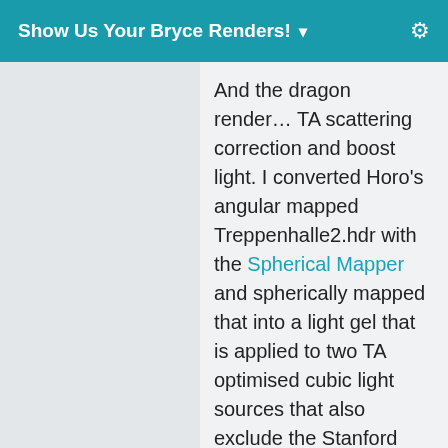Show Us Your Bryce Renders! ▾
And the dragon render… TA scattering correction and boost light. I converted Horo's angular mapped Treppenhalle2.hdr with the Spherical Mapper and spherically mapped that into a light gel that is applied to two TA optimised cubic light sources that also exclude the Stanford dragon and overlap. This projects gel light in which adding rather than multiplying, retains the colour. The same HDRI is used as a backdrop to drive reflection. Standard Bryce sun is also employed as